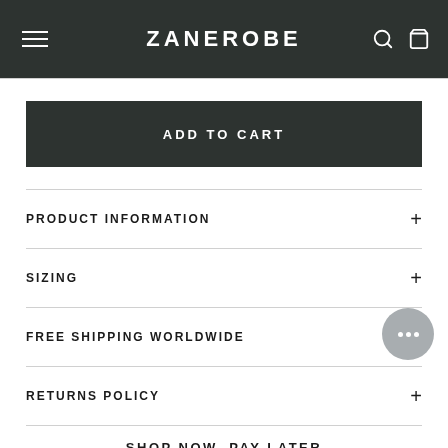ZANEROBE
ADD TO CART
PRODUCT INFORMATION
SIZING
FREE SHIPPING WORLDWIDE
RETURNS POLICY
SHOP NOW, PAY LATER
[Figure (logo): Payment logos: afterpay, PayPal, Zip, Sezzle]
AUS & NZ   AUS & NZ   AUS & NZ   USA & CAN